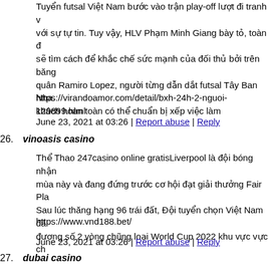Tuyển futsal Việt Nam bước vào trận play-off lượt đi tranh với sự tự tin. Tuy vậy, HLV Phạm Minh Giang bày tỏ, toàn đ sẽ tìm cách để khắc chế sức mạnh của đối thủ bởi trên băng quân Ramiro Lopez, người từng dẫn dắt futsal Tây Ban Nha. khách hoàn toàn có thể chuẩn bị xếp việc làm
https://virandoamor.com/detail/bxh-24h-2-nguoi-129899.html
June 23, 2021 at 03:26 | Report abuse | Reply
26. vinoasis casino
Thể Thao 247casino online gratisLiverpool là đội bóng nhận mùa này và đang đứng trước cơ hội đạt giải thưởng Fair Pla Sau lúc thăng hạng 96 trái đất, Đội tuyển chọn Việt Nam đã đương số 2 vòng chũng loại World Cup 2022 khu vực vực ch
https://www.vnd188.bet/
June 23, 2021 at 03:26 | Report abuse | Reply
27. dubai casino
Thể Thao 247casino royale subLiverpool là nhóm bóng nhận mùa này và đang được đứng trước thời cơ giành giải thưởng liên tiếp. Sau lúc thăng hạng 96 thế giới, nhóm tuyển nước V tương đương số 2 vòng loại World Cup 2022 quần thể vực c